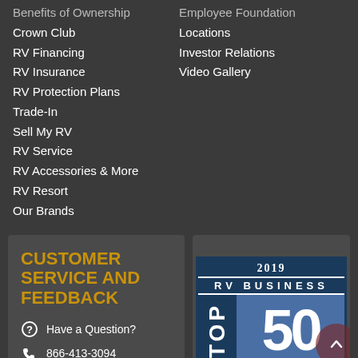Benefits of Ownership
Employee Foundation
Crown Club
Locations
RV Financing
Investor Relations
RV Insurance
Video Gallery
RV Protection Plans
Trade-In
Sell My RV
RV Service
RV Accessories & More
RV Resort
Our Brands
CUSTOMER SERVICE AND FEEDBACK
Have a Question?
866-413-3094
Message Us
[Figure (logo): 2019 RV Business Top 50 Dealer Awards badge. Dark navy blue border with '2019' at top, 'RV BUSINESS' text, 'TOP' vertical text on left side, large '50' in blue box on right, 'DEALER AWARDS' at bottom.]